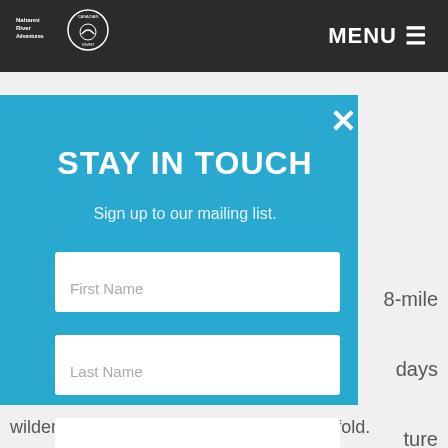Nahanni River Adventures | Canadian River | MENU
[Figure (screenshot): Website modal popup on a light gray background with partial text visible on the right side reading '8-mile', 'days', 'ture', 'ough', 'onnel,', 'e'. Bottom text reads 'wilderness experience that is about to unfold.']
STAY IN TOUCH
Sign up to our mailing list.
First Name
Last Name
Email
SIGN ME UP
wilderness experience that is about to unfold.